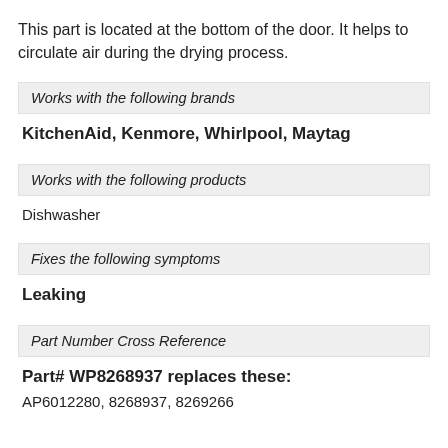This part is located at the bottom of the door. It helps to circulate air during the drying process.
Works with the following brands
KitchenAid, Kenmore, Whirlpool, Maytag
Works with the following products
Dishwasher
Fixes the following symptoms
Leaking
Part Number Cross Reference
Part# WP8268937 replaces these:
AP6012280, 8268937, 8269266